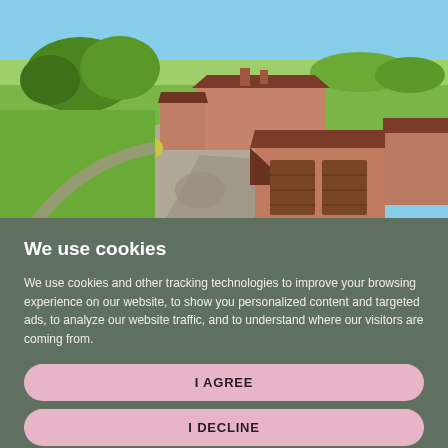[Figure (photo): Aerial drone photograph of a large rural property with brick buildings, a detached double garage with brown roof tiles, a gravel driveway, and surrounding green fields and trees under a blue sky.]
We use cookies
We use cookies and other tracking technologies to improve your browsing experience on our website, to show you personalized content and targeted ads, to analyze our website traffic, and to understand where our visitors are coming from.
I AGREE
I DECLINE